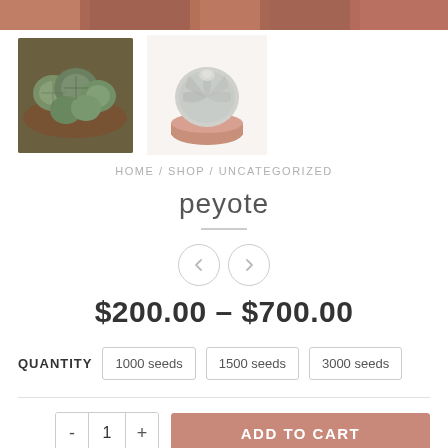[Figure (photo): Top banner showing reddish-brown plant/soil texture]
[Figure (photo): Thumbnail of peyote cactus cluster, green, from above]
[Figure (photo): Thumbnail of single peyote cactus in a pink pot, top view]
HOME / SHOP / UNCATEGORIZED
peyote
$200.00 – $700.00
QUANTITY   1000 seeds   1500 seeds   3000 seeds
- 1 +   ADD TO CART